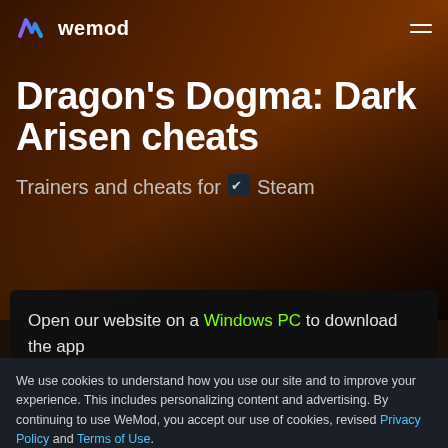wemod
Dragon's Dogma: Dark Arisen cheats
Trainers and cheats for Steam
Open our website on a Windows PC to download the app
We use cookies to understand how you use our site and to improve your experience. This includes personalizing content and advertising. By continuing to use WeMod, you accept our use of cookies, revised Privacy Policy and Terms of Use.
Got it
Our Dragon's Dogma: Dark Arisen trainer has 20 cheats and supports Steam. Cheat in this game and more with the WeMod app!